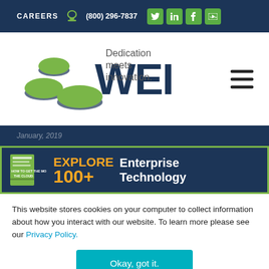CAREERS  (800) 296-7837
[Figure (logo): WEI logo with green disc icons and text 'WEI Dedication meets innovation.']
EXPLORE  Enterprise Technology
This website stores cookies on your computer to collect information about how you interact with our website. To learn more please see our Privacy Policy.
Okay, got it.